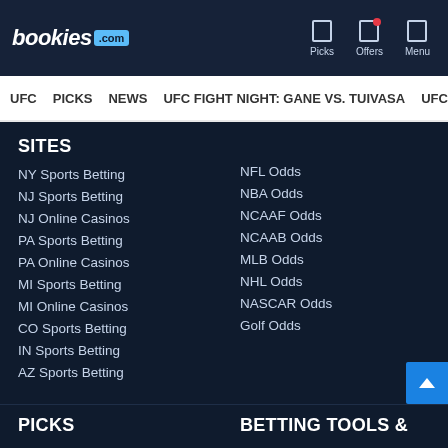bookies.com | Picks | Offers | Menu
UFC | PICKS | NEWS | UFC FIGHT NIGHT: GANE VS. TUIVASA | UFC 27
SITES
NY Sports Betting
NJ Sports Betting
NJ Online Casinos
PA Sports Betting
PA Online Casinos
MI Sports Betting
MI Online Casinos
CO Sports Betting
IN Sports Betting
AZ Sports Betting
NFL Odds
NBA Odds
NCAAF Odds
NCAAB Odds
MLB Odds
NHL Odds
NASCAR Odds
Golf Odds
PICKS
BETTING TOOLS &